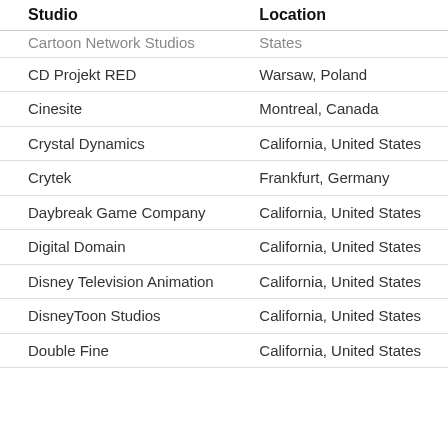| Studio | Location |
| --- | --- |
| Cartoon Network Studios | States |
| CD Projekt RED | Warsaw, Poland |
| Cinesite | Montreal, Canada |
| Crystal Dynamics | California, United States |
| Crytek | Frankfurt, Germany |
| Daybreak Game Company | California, United States |
| Digital Domain | California, United States |
| Disney Television Animation | California, United States |
| DisneyToon Studios | California, United States |
| Double Fine | California, United States |